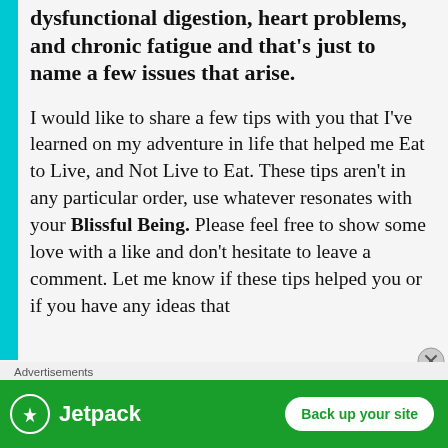dysfunctional digestion, heart problems, and chronic fatigue and that's just to name a few issues that arise.
I would like to share a few tips with you that I've learned on my adventure in life that helped me Eat to Live, and Not Live to Eat. These tips aren't in any particular order, use whatever resonates with your Blissful Being. Please feel free to show some love with a like and don't hesitate to leave a comment. Let me know if these tips helped you or if you have any ideas that
[Figure (other): Jetpack advertisement banner with logo and 'Back up your site' button on green background]